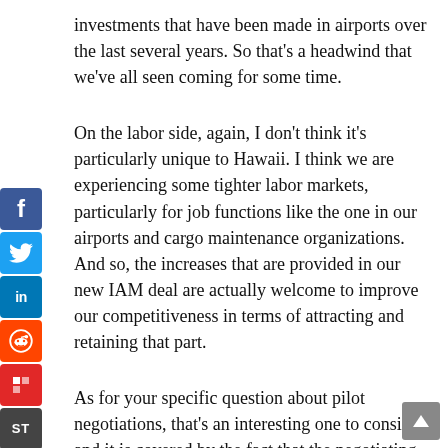investments that have been made in airports over the last several years. So that's a headwind that we've all seen coming for some time.
[Figure (infographic): Social media sharing sidebar with icons for Facebook, Twitter, LinkedIn, Reddit, Flipboard, and SmartNews (ST)]
On the labor side, again, I don't think it's particularly unique to Hawaii. I think we are experiencing some tighter labor markets, particularly for job functions like the one in our airports and cargo maintenance organizations. And so, the increases that are provided in our new IAM deal are actually welcome to improve our competitiveness in terms of attracting and retaining that part.
As for your specific question about pilot negotiations, that's an interesting one to consider and it is covered by the fact that the negotiating picture is not just our contract becoming amendable this year, but the fact